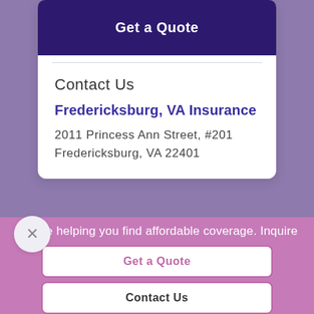Get a Quote
Contact Us
Fredericksburg, VA Insurance
2011 Princess Ann Street, #201
Fredericksburg, VA 22401
re helping you find affordable coverage. Inquire
Get a Quote
Contact Us